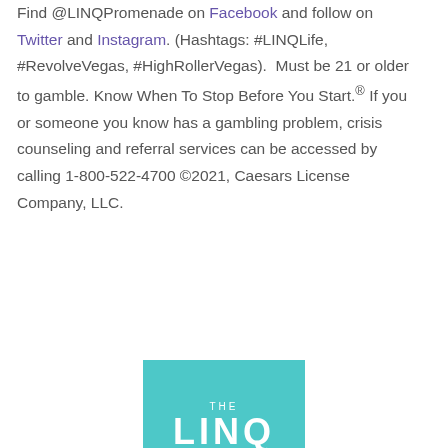Find @LINQPromenade on Facebook and follow on Twitter and Instagram. (Hashtags: #LINQLife, #RevolveVegas, #HighRollerVegas).  Must be 21 or older to gamble. Know When To Stop Before You Start.® If you or someone you know has a gambling problem, crisis counseling and referral services can be accessed by calling 1-800-522-4700 ©2021, Caesars License Company, LLC.
[Figure (logo): THE LINQ logo on teal/turquoise background, showing 'THE' in small white caps and 'LINQ' in large white bold letters]